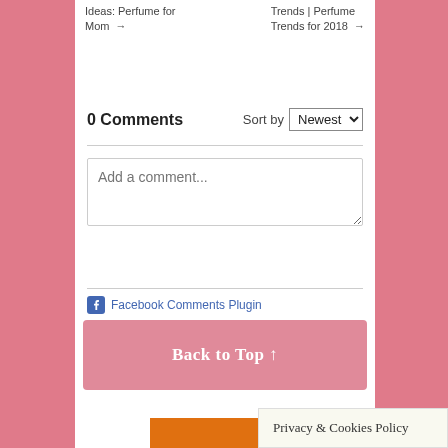Ideas: Perfume for Mom →
Trends | Perfume Trends for 2018 →
0 Comments
Sort by Newest
Add a comment...
Facebook Comments Plugin
Back to Top ↑
Privacy & Cookies Policy